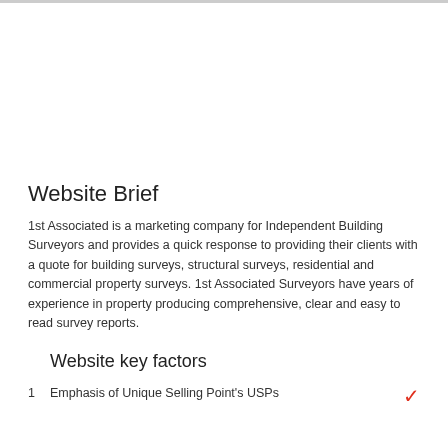Website Brief
1st Associated is a marketing company for Independent Building Surveyors and provides a quick response to providing their clients with a quote for building surveys, structural surveys, residential and commercial property surveys. 1st Associated Surveyors have years of experience in property producing comprehensive, clear and easy to read survey reports.
Website key factors
1  Emphasis of Unique Selling Point's USPs